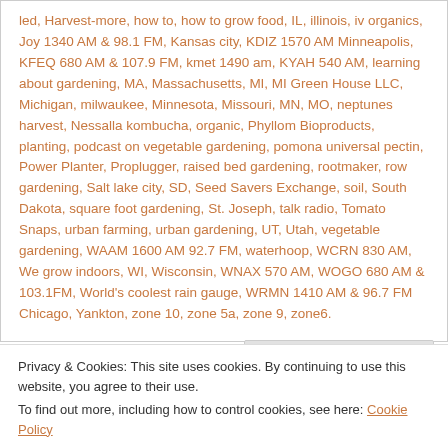led, Harvest-more, how to, how to grow food, IL, illinois, iv organics, Joy 1340 AM & 98.1 FM, Kansas city, KDIZ 1570 AM Minneapolis, KFEQ 680 AM & 107.9 FM, kmet 1490 am, KYAH 540 AM, learning about gardening, MA, Massachusetts, MI, MI Green House LLC, Michigan, milwaukee, Minnesota, Missouri, MN, MO, neptunes harvest, Nessalla kombucha, organic, Phyllom Bioproducts, planting, podcast on vegetable gardening, pomona universal pectin, Power Planter, Proplugger, raised bed gardening, rootmaker, row gardening, Salt lake city, SD, Seed Savers Exchange, soil, South Dakota, square foot gardening, St. Joseph, talk radio, Tomato Snaps, urban farming, urban gardening, UT, Utah, vegetable gardening, WAAM 1600 AM 92.7 FM, waterhoop, WCRN 830 AM, We grow indoors, WI, Wisconsin, WNAX 570 AM, WOGO 680 AM & 103.1FM, World's coolest rain gauge, WRMN 1410 AM & 96.7 FM Chicago, Yankton, zone 10, zone 5a, zone 9, zone6.
Privacy & Cookies: This site uses cookies. By continuing to use this website, you agree to their use. To find out more, including how to control cookies, see here: Cookie Policy
Close and accept
grow food across the country in the 2020 garden season. The show is